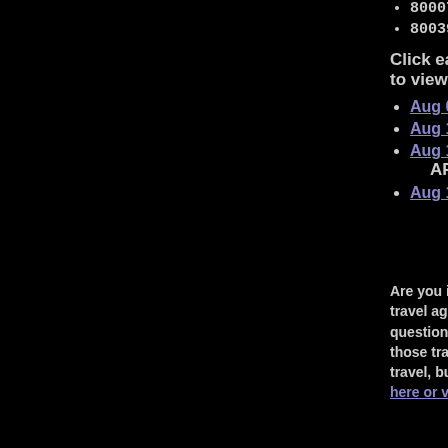800073 Pullman
800393 Missouri
Click each link to view more photos
Aug 08-11: Co
Aug 12-14: Em
Aug 15-17: Ca
ARE HERE
Aug 18---: Coa
A
Are you interested in rail travel agents that have the questions and to book a those travel agencies and travel, but have gained m here or visit RAILagenc